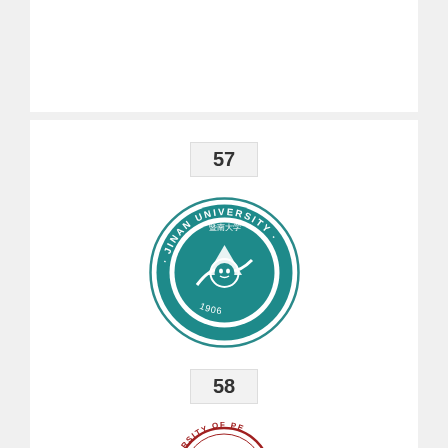[Figure (other): Top portion of a previous university card (rank 57 area top)]
57
[Figure (logo): Jinan University circular seal logo with teal color, showing Chinese characters, a boat/wave design, and text 'JINAN UNIVERSITY 1906' around the border]
JINAN UNIVERSITY
Total Score : 307.4
GUANGDONG
58
[Figure (logo): Partially visible circular university seal in red/crimson color at bottom of page, text reads 'VERSITY OF PE...']